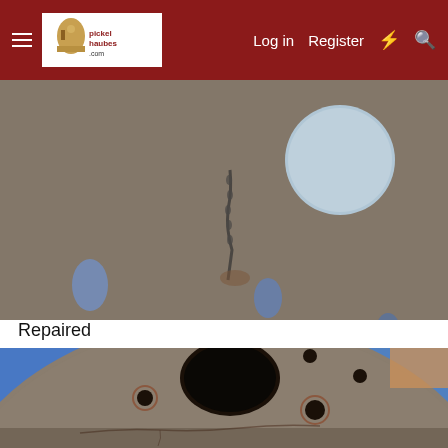pickelhaubes.com — Log in | Register
[Figure (photo): Close-up photo of a damaged military helmet (pickelhaube) showing holes, tears and damage across the surface material before repair]
Repaired
[Figure (photo): Close-up photo of the same military helmet (pickelhaube) after repair, showing the dome with holes and cracks still visible on the surface material, with blue background]